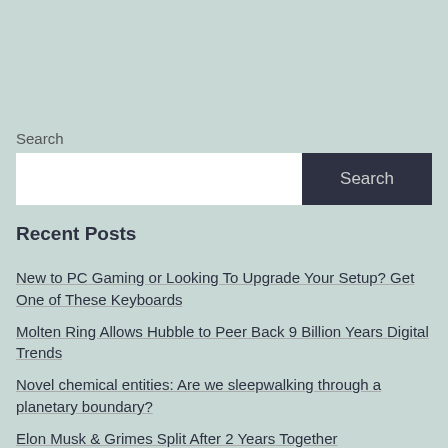Search
[Figure (other): Search bar with white input field and dark 'Search' button]
Recent Posts
New to PC Gaming or Looking To Upgrade Your Setup? Get One of These Keyboards
Molten Ring Allows Hubble to Peer Back 9 Billion Years Digital Trends
Novel chemical entities: Are we sleepwalking through a planetary boundary?
Elon Musk & Grimes Split After 2 Years Together